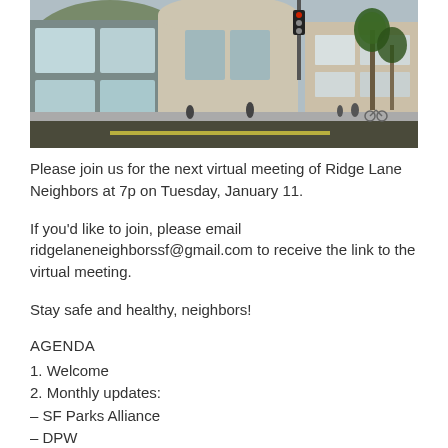[Figure (photo): Exterior photo of a community building/recreation center with modern architecture, palm trees, and a street in the foreground]
Please join us for the next virtual meeting of Ridge Lane Neighbors at 7p on Tuesday, January 11.
If you'd like to join, please email ridgelaneneighborssf@gmail.com to receive the link to the virtual meeting.
Stay safe and healthy, neighbors!
AGENDA
1. Welcome
2. Monthly updates:
– SF Parks Alliance
– DPW